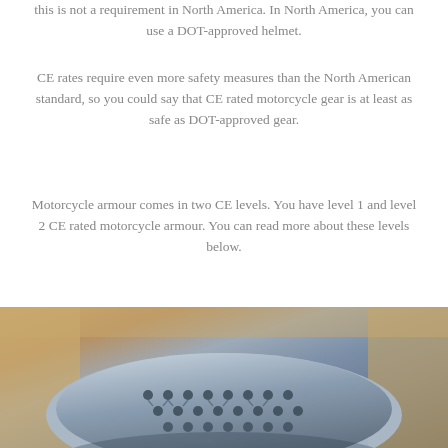this is not a requirement in North America. In North America, you can use a DOT-approved helmet.
CE rates require even more safety measures than the North American standard, so you could say that CE rated motorcycle gear is at least as safe as DOT-approved gear.
Motorcycle armour comes in two CE levels. You have level 1 and level 2 CE rated motorcycle armour. You can read more about these levels below.
[Figure (photo): Close-up photo of a blue/grey perforated motorcycle armour pad with a honeycomb/lattice pattern, placed on a wooden surface]